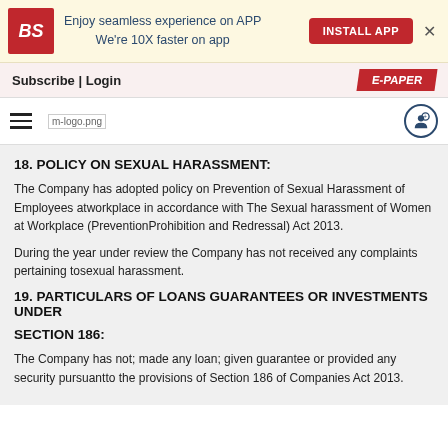[Figure (screenshot): Business Standard app advertisement banner with BS logo, text 'Enjoy seamless experience on APP We're 10X faster on app', and INSTALL APP button]
Subscribe | Login   E-PAPER
[Figure (logo): Hamburger menu icon and m-logo.png site logo with user icon]
18. POLICY ON SEXUAL HARASSMENT:
The Company has adopted policy on Prevention of Sexual Harassment of Employees atworkplace in accordance with The Sexual harassment of Women at Workplace (PreventionProhibition and Redressal) Act 2013.
During the year under review the Company has not received any complaints pertaining tosexual harassment.
19. PARTICULARS OF LOANS GUARANTEES OR INVESTMENTS UNDER
SECTION 186:
The Company has not; made any loan; given guarantee or provided any security pursuantto the provisions of Section 186 of Companies Act 2013.